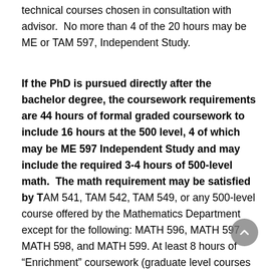technical courses chosen in consultation with advisor.  No more than 4 of the 20 hours may be ME or TAM 597, Independent Study.
If the PhD is pursued directly after the bachelor degree, the coursework requirements are 44 hours of formal graded coursework to include 16 hours at the 500 level, 4 of which may be ME 597 Independent Study and may include the required 3-4 hours of 500-level math.  The math requirement may be satisfied by TAM 541, TAM 542, TAM 549, or any 500-level course offered by the Mathematics Department except for the following: MATH 596, MATH 597, MATH 598, and MATH 599. At least 8 hours of “Enrichment” coursework (graduate level courses that do not strongly overlap with the student’s main research topic) to be chosen in consultation with the advisor, and at least 52 hours of